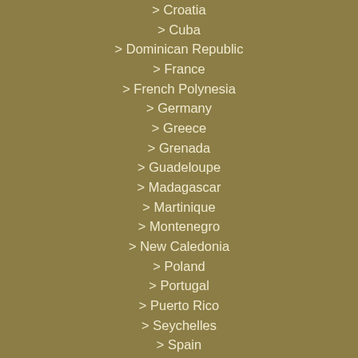> Croatia
> Cuba
> Dominican Republic
> France
> French Polynesia
> Germany
> Greece
> Grenada
> Guadeloupe
> Madagascar
> Martinique
> Montenegro
> New Caledonia
> Poland
> Portugal
> Puerto Rico
> Seychelles
> Spain
> St. Martin
> Sweden
> Thailand
> Turkey
> United Kingdom